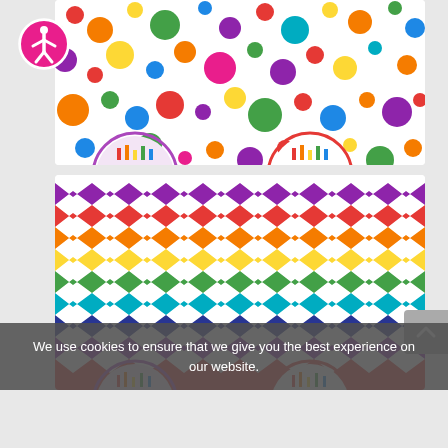[Figure (illustration): Accessibility icon: pink circle with white stick figure person]
[Figure (illustration): Top card showing colorful polka dots pattern on white background with partial birthday cake circle thumbnails at bottom]
[Figure (illustration): Middle card showing rainbow chevron/zigzag pattern with stripes in purple, red, orange, yellow, green, teal, navy, purple, red colors with partial birthday cake circle thumbnails at bottom]
We use cookies to ensure that we give you the best experience on our website.